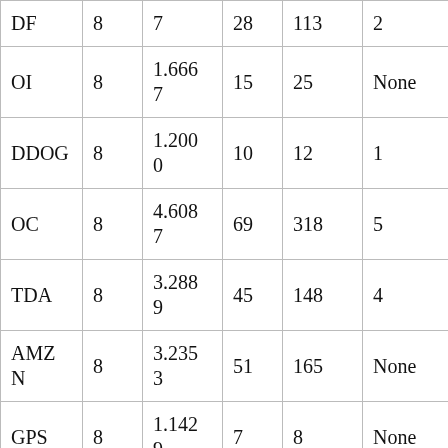| DF | 8 | 7 | 28 | 113 | 2 |
| OI | 8 | 1.6667 | 15 | 25 | None |
| DDOG | 8 | 1.2000 | 10 | 12 | 1 |
| OC | 8 | 4.6087 | 69 | 318 | 5 |
| TDA | 8 | 3.2889 | 45 | 148 | 4 |
| AMZN | 8 | 3.2353 | 51 | 165 | None |
| GPS | 8 | 1.1429 | 7 | 8 | None |